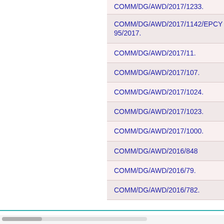COMM/DG/AWD/2017/1233.
COMM/DG/AWD/2017/1142/EPCY 95/2017.
COMM/DG/AWD/2017/11.
COMM/DG/AWD/2017/107.
COMM/DG/AWD/2017/1024.
COMM/DG/AWD/2017/1023.
COMM/DG/AWD/2017/1000.
COMM/DG/AWD/2016/848
COMM/DG/AWD/2016/79.
COMM/DG/AWD/2016/782.